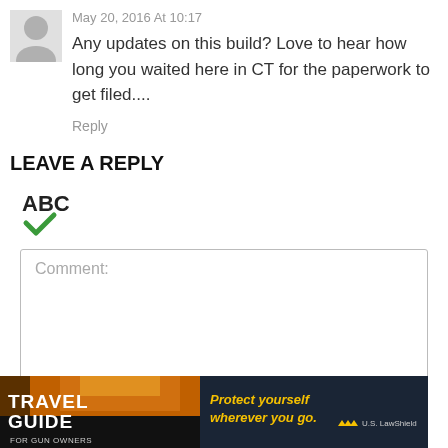May 20, 2016 At 10:17
Any updates on this build? Love to hear how long you waited here in CT for the paperwork to get filed....
Reply
LEAVE A REPLY
[Figure (other): Spellcheck icon with ABC text and green checkmark]
Comment:
[Figure (other): Travel Guide for Gun Owners advertisement banner - Protect yourself wherever you go - US LawShield]